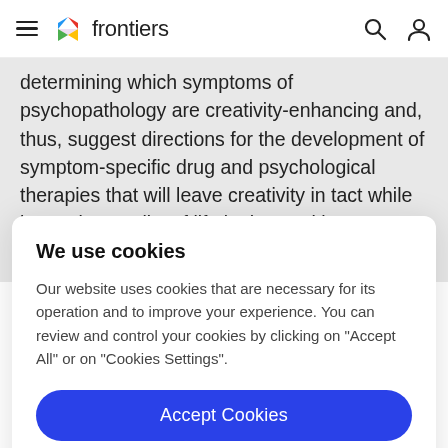frontiers
determining which symptoms of psychopathology are creativity-enhancing and, thus, suggest directions for the development of symptom-specific drug and psychological therapies that will leave creativity in tact while improving quality of life in those with associated
We use cookies
Our website uses cookies that are necessary for its operation and to improve your experience. You can review and control your cookies by clicking on "Accept All" or on "Cookies Settings".
Accept Cookies
Cookies Settings